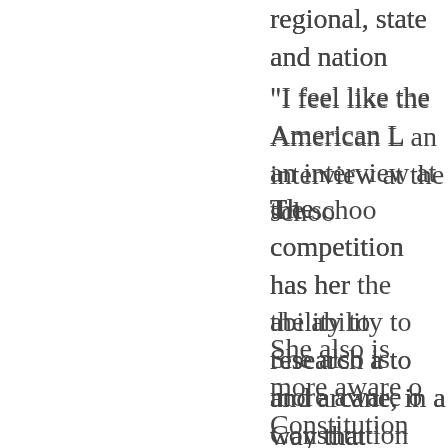regional, state and nation
“I feel like the American L an interview at the schoo
The competition has her the ability to research a to and arcane, in a way that
She also is more aware o Constitution and keep wa aren't unconstitutional.
She would like to help oth will be her younger broth sister's competitions.
Barnosky urges more st